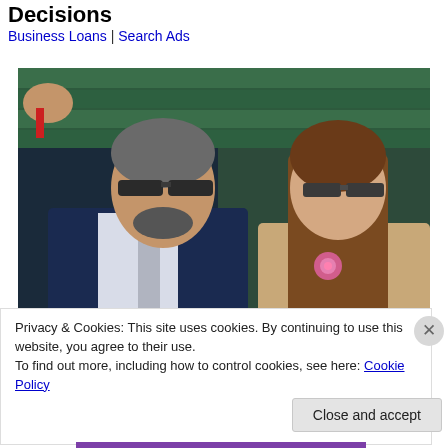Decisions
Business Loans | Search Ads
[Figure (photo): A man in a dark navy suit with grey tie wearing sunglasses seated next to a young woman with long brown hair wearing sunglasses and a beige outfit with a pink flower, appearing to be at Wimbledon tennis tournament with green seats in the background.]
Privacy & Cookies: This site uses cookies. By continuing to use this website, you agree to their use.
To find out more, including how to control cookies, see here: Cookie Policy